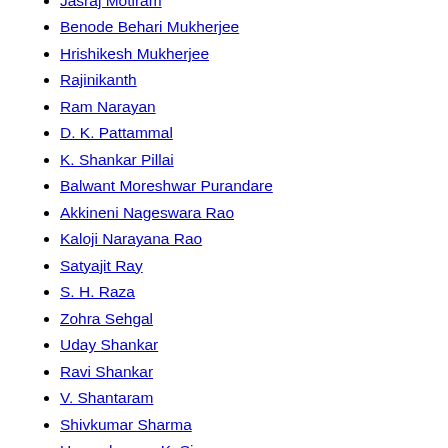Jasraj Motiram
Benode Behari Mukherjee
Hrishikesh Mukherjee
Rajinikanth
Ram Narayan
D. K. Pattammal
K. Shankar Pillai
Balwant Moreshwar Purandare
Akkineni Nageswara Rao
Kaloji Narayana Rao
Satyajit Ray
S. H. Raza
Zohra Sehgal
Uday Shankar
Ravi Shankar
V. Shantaram
Shivkumar Sharma
Umayalpuram K. Sivaraman
M. S. Subbulakshmi
K. G. Subramanyan
Kapila Vatsyayan
Homai Vyarawalla